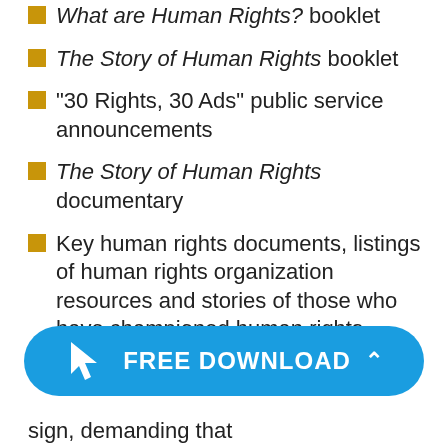What are Human Rights? booklet
The Story of Human Rights booklet
“30 Rights, 30 Ads” public service announcements
The Story of Human Rights documentary
Key human rights documents, listings of human rights organization resources and stories of those who have championed human rights through the ages
[Figure (other): Blue rounded rectangle button with white cursor/arrow icon and text FREE DOWNLOAD with a caret/chevron up symbol]
sign, demanding that